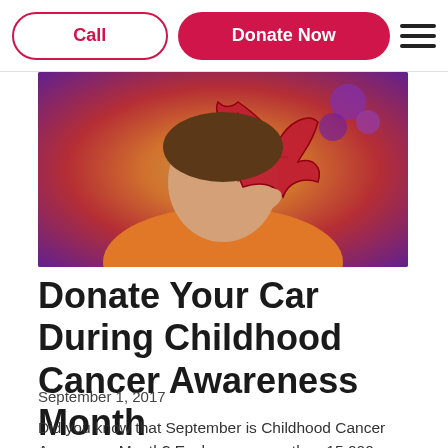Call | Donate Now
[Figure (photo): A child holding a large red autumn maple leaf up to their face, wearing a yellow/orange top, with purple flowers in the background.]
Donate Your Car During Childhood Cancer Awareness Month
September 1, 2017
Did you know that September is Childhood Cancer Awareness Month? Each year, more than 15,000 children under the age of 21 are diagnosed with cancer